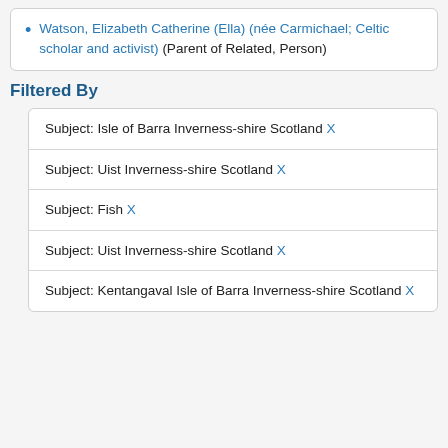Watson, Elizabeth Catherine (Ella) (née Carmichael; Celtic scholar and activist) (Parent of Related, Person)
Filtered By
Subject: Isle of Barra Inverness-shire Scotland X
Subject: Uist Inverness-shire Scotland X
Subject: Fish X
Subject: Uist Inverness-shire Scotland X
Subject: Kentangaval Isle of Barra Inverness-shire Scotland X